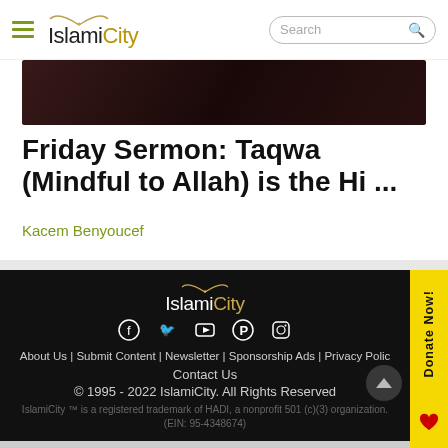IslamiCity – Search
[Figure (screenshot): Dark blurred hero image at top of article page]
Friday Sermon: Taqwa (Mindful to Allah) is the Hi ...
Kacem Benyoucef
[Figure (logo): IslamiCity footer logo with social media icons (Facebook, Twitter, YouTube, Pinterest, Instagram)]
About Us | Submit Content | Newsletter | Sponsorship Ads | Privacy Polic... Contact Us © 1995 - 2022 IslamiCity. All Rights Reserved IslamiCity ™ is a registered trademark of HADI, a nonprofit 501 (c)(3) organization. (EIN: 95-4348674)